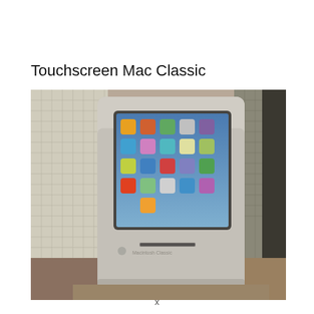Touchscreen Mac Classic
[Figure (photo): A vintage Apple Macintosh Classic case modified to house an iPad as a touchscreen display. The iPad shows the iOS home screen with app icons. The device sits on a wooden surface near a window with a mesh screen, photographed in a room with natural light.]
x